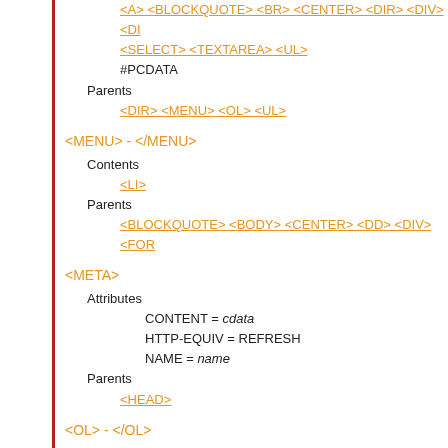<A> <BLOCKQUOTE> <BR> <CENTER> <DIR> <DIV> <DI <SELECT> <TEXTAREA> <UL>
#PCDATA
Parents
<DIR> <MENU> <OL> <UL>
<MENU> - </MENU>
Contents
<LI>
Parents
<BLOCKQUOTE> <BODY> <CENTER> <DD> <DIV> <FOR
<META>
Attributes
CONTENT = cdata
HTTP-EQUIV = REFRESH
NAME = name
Parents
<HEAD>
<OL> - </OL>
Contents
<LI>
Parents
<BLOCKQUOTE> <BODY> <CENTER> <DD> <DIV> <FOR
<OPTION> - </OPTION>
Attributes
SELECTED
VALUE = cdata
Contents
#PCDATA